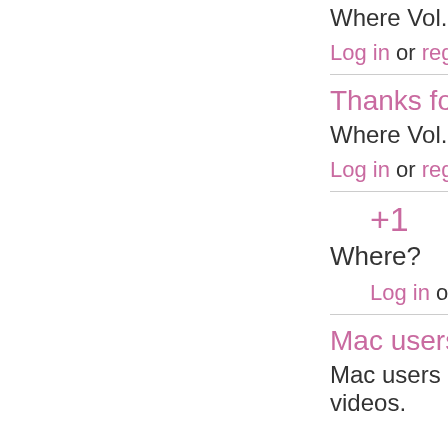Where Vol.3 & Vol.4 ?
Log in or register to p
Thanks for your v
Where Vol.4 & Vol.5 ?
Log in or register to p
+1
Where?
Log in or register t
Mac users can do
Mac users can downlo videos.